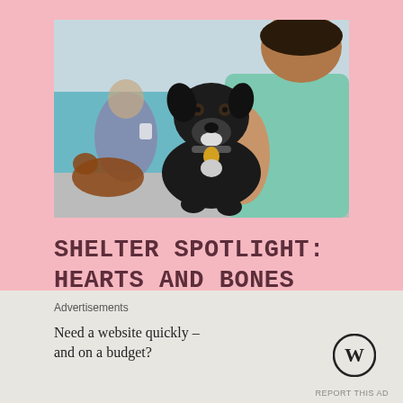[Figure (photo): A black dog being held by a person in a teal shirt at what appears to be an animal shelter. In the background, another person holds a dog near a blue wall.]
SHELTER SPOTLIGHT: HEARTS AND BONES RESCUE
Advertisements
Need a website quickly – and on a budget?
[Figure (logo): WordPress logo (W circle)]
REPORT THIS AD